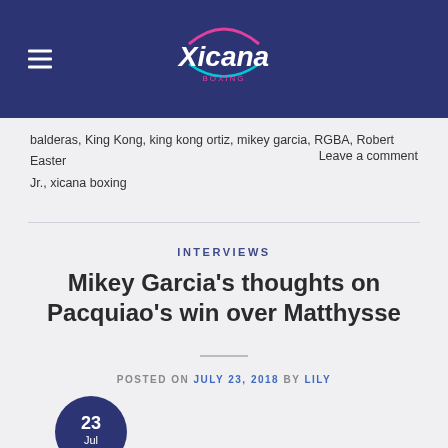Xicana Boxing — navigation header with logo
balderas, King Kong, king kong ortiz, mikey garcia, RGBA, Robert Easter Jr., xicana boxing
Leave a comment
INTERVIEWS
Mikey Garcia's thoughts on Pacquiao's win over Matthysse
POSTED ON JULY 23, 2018 BY LILY
[Figure (other): Date badge circle showing '23 Jul' in dark navy blue]